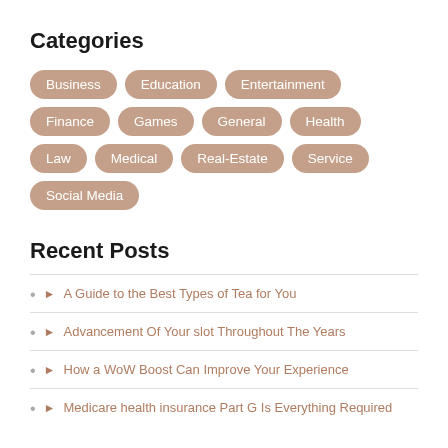Categories
Business
Education
Entertainment
Finance
Games
General
Health
Law
Medical
Real-Estate
Service
Social Media
Recent Posts
A Guide to the Best Types of Tea for You
Advancement Of Your slot Throughout The Years
How a WoW Boost Can Improve Your Experience
Medicare health insurance Part G Is Everything Required